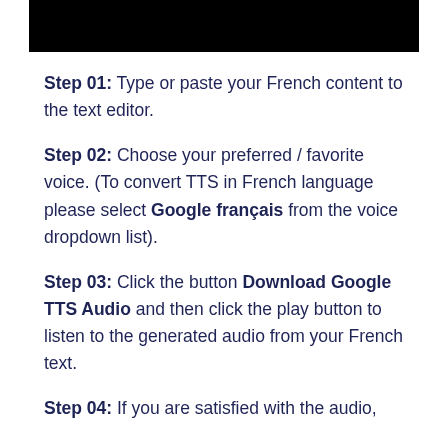[Figure (other): Black rectangular banner/header bar]
Step 01: Type or paste your French content to the text editor.
Step 02: Choose your preferred / favorite voice. (To convert TTS in French language please select Google français from the voice dropdown list).
Step 03: Click the button Download Google TTS Audio and then click the play button to listen to the generated audio from your French text.
Step 04: If you are satisfied with the audio,